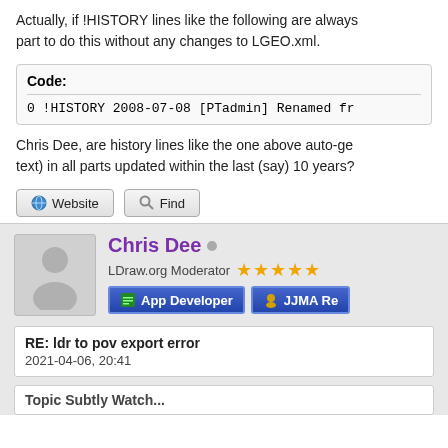Actually, if !HISTORY lines like the following are always present as part to do this without any changes to LGEO.xml.
Code:
0 !HISTORY 2008-07-08 [PTadmin] Renamed fr
Chris Dee, are history lines like the one above auto-generated (text) in all parts updated within the last (say) 10 years?
Website
Find
Chris Dee
LDraw.org Moderator
App Developer
JJMA Re
RE: ldr to pov export error
2021-04-06, 20:41
Topic Subtly Watch...